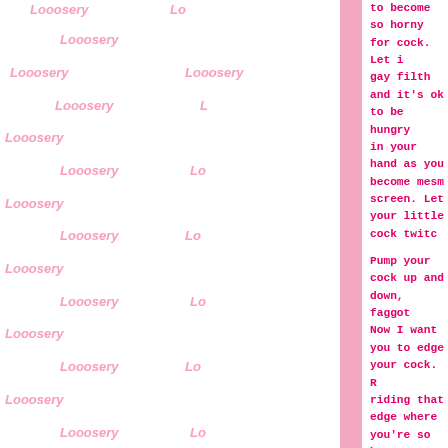[Figure (illustration): Tiled watermark pattern on left panel with repeated 'Looosery' text in pink italic font on white background, with a vertical pink bar divider]
to become so horny for cock. Let it gay filth and it's ok to be hungry in your hand as you become mesm screen. Let your little cock twitc

Pump your cock up and down, faggot Now I want you to edge your cock. R riding that edge where you're so ho to anything. But don't cum. Just ac a pathetic cock sucking slut. I'm can't cum again until you make anot grndr and start chatting with guys want you to go out and truly be a this. You were never comfortable rejected you. Being pussy free was only option.

But now I'm giving you a way to ac faggot slut. It's the closest relationship with a woman. Keep st say, 'I want to be gay for you, Goddess Aura. The only path for faggot. And if you had any doubt b completely. You never had a chance

Pump for cock. And once you finall will have no regrets. It will jus cock than you were before. Pussy is a pussy free loser doesn't mean